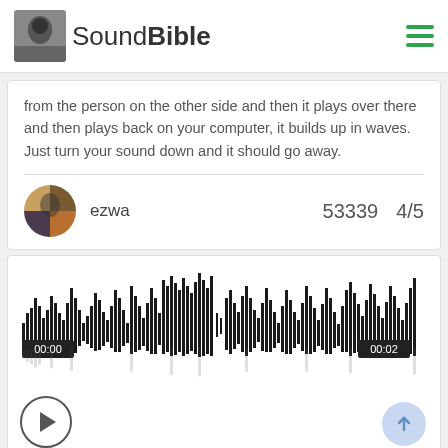SoundBible
from the person on the other side and then it plays over there and then plays back on your computer, it builds up in waves. Just turn your sound down and it should go away.
ezwa   53339   4/5
[Figure (other): Audio waveform player showing a 2-second sound clip with timestamps 00:00 and 00:02, followed by a play button]